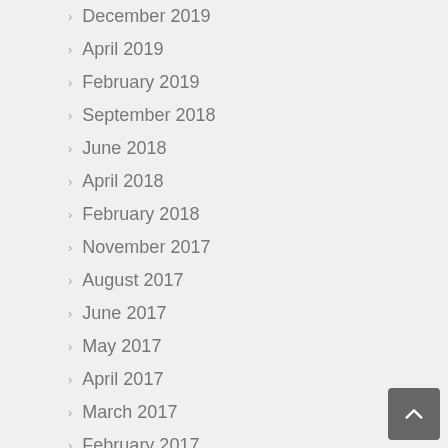December 2019
April 2019
February 2019
September 2018
June 2018
April 2018
February 2018
November 2017
August 2017
June 2017
May 2017
April 2017
March 2017
February 2017
January 2017
October 2016
August 2016
May 2016
April 2016